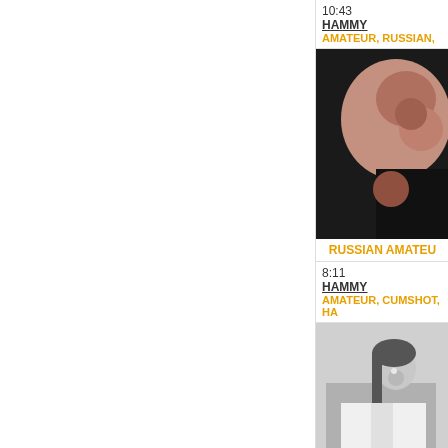10:43
HAMMY
AMATEUR, RUSSIAN,
[Figure (photo): Video thumbnail showing close-up image]
RUSSIAN AMATEU...
8:11
HAMMY
AMATEUR, CUMSHOT, HA...
[Figure (photo): Black and white video thumbnail showing a person]